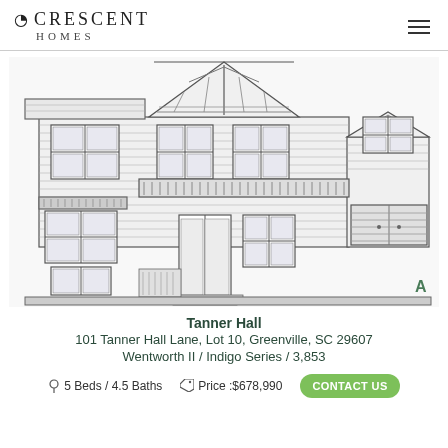Crescent Homes
[Figure (illustration): Architectural front elevation drawing of the Tanner Hall home — a two-story craftsman-style house with gabled roof, covered porch, board-and-batten siding, multiple windows, and a two-car garage on the right. Letter 'A' appears in green at bottom right.]
Tanner Hall
101 Tanner Hall Lane, Lot 10, Greenville, SC 29607
Wentworth II / Indigo Series / 3,853
5 Beds / 4.5 Baths   Price :$678,990